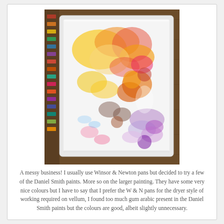[Figure (photo): A white rectangular paint palette/tray covered with mixed watercolor paint stains in yellows, oranges, reds, pinks, and purples, sitting on a wooden surface with other paint-stained materials visible around it.]
A messy business! I usually use Winsor & Newton pans but decided to try a few of the Daniel Smith paints. More so on the larger painting. They have some very nice colours but I have to say that I prefer the W & N pans for the dryer style of working required on vellum, I found too much gum arabic present in the Daniel Smith paints but the colours are good, albeit slightly unnecessary.